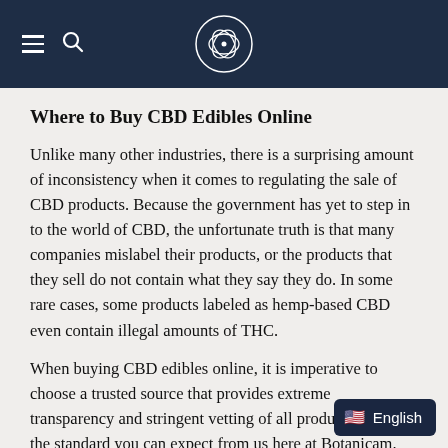Botanicam website header with hamburger menu, search icon, and leaf logo
Where to Buy CBD Edibles Online
Unlike many other industries, there is a surprising amount of inconsistency when it comes to regulating the sale of CBD products. Because the government has yet to step in to the world of CBD, the unfortunate truth is that many companies mislabel their products, or the products that they sell do not contain what they say they do. In some rare cases, some products labeled as hemp-based CBD even contain illegal amounts of THC.
When buying CBD edibles online, it is imperative to choose a trusted source that provides extreme transparency and stringent vetting of all products. This is the standard you can expect from us here at Botanicam.